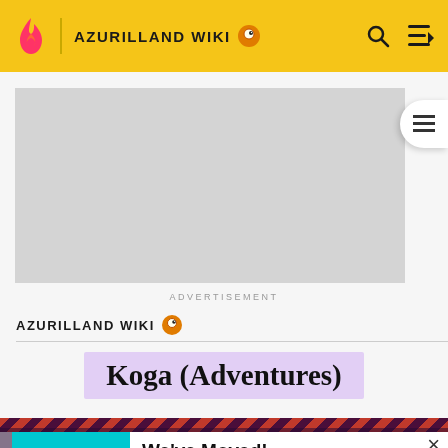AZURILLAND WIKI
[Figure (screenshot): Advertisement placeholder (grey rectangle)]
ADVERTISEMENT
AZURILLAND WIKI
Koga (Adventures)
We've Moved! Just as Gamepedia has joined forces with Fandom, this wiki has joined forces with our Fandom equivalent. The wiki has been archived and we ask that readers and editors move to the new combined wiki on Fandom.
GO TO NEW WIKI →